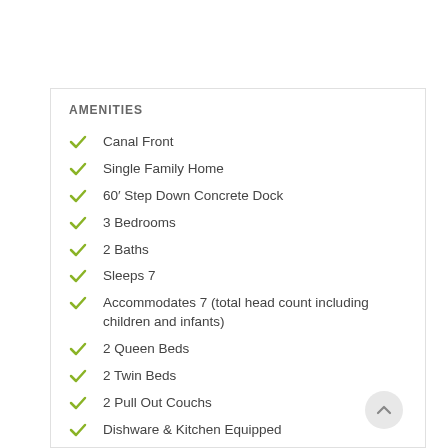AMENITIES
Canal Front
Single Family Home
60′ Step Down Concrete Dock
3 Bedrooms
2 Baths
Sleeps 7
Accommodates 7 (total head count including children and infants)
2 Queen Beds
2 Twin Beds
2 Pull Out Couchs
Dishware & Kitchen Equipped